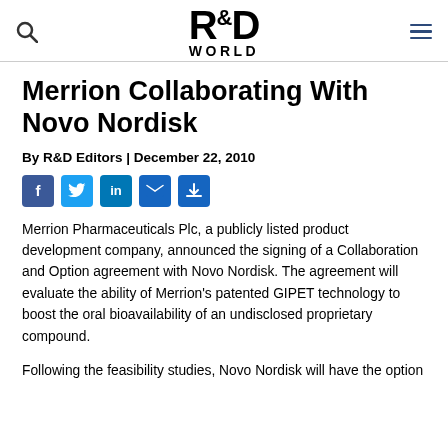R&D World
Merrion Collaborating With Novo Nordisk
By R&D Editors | December 22, 2010
[Figure (other): Social sharing icons: Facebook, Twitter, LinkedIn, Email, Share]
Merrion Pharmaceuticals Plc, a publicly listed product development company, announced the signing of a Collaboration and Option agreement with Novo Nordisk. The agreement will evaluate the ability of Merrion's patented GIPET technology to boost the oral bioavailability of an undisclosed proprietary compound.
Following the feasibility studies, Novo Nordisk will have the option